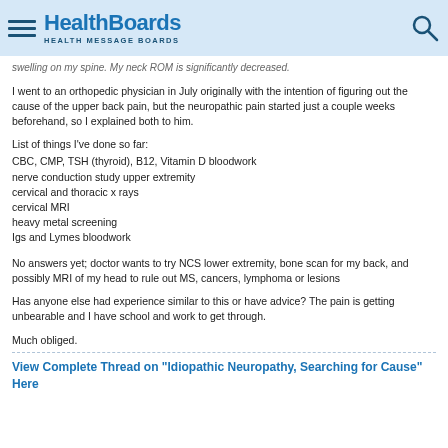HealthBoards - HEALTH MESSAGE BOARDS
swelling on my spine. My neck ROM is significantly decreased.
I went to an orthopedic physician in July originally with the intention of figuring out the cause of the upper back pain, but the neuropathic pain started just a couple weeks beforehand, so I explained both to him.
List of things I've done so far:
CBC, CMP, TSH (thyroid), B12, Vitamin D bloodwork
nerve conduction study upper extremity
cervical and thoracic x rays
cervical MRI
heavy metal screening
Igs and Lymes bloodwork
No answers yet; doctor wants to try NCS lower extremity, bone scan for my back, and possibly MRI of my head to rule out MS, cancers, lymphoma or lesions
Has anyone else had experience similar to this or have advice? The pain is getting unbearable and I have school and work to get through.
Much obliged.
View Complete Thread on "Idiopathic Neuropathy, Searching for Cause" Here